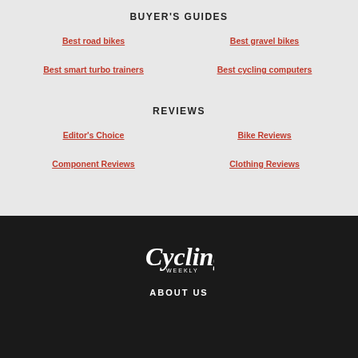BUYER'S GUIDES
Best road bikes
Best gravel bikes
Best smart turbo trainers
Best cycling computers
REVIEWS
Editor's Choice
Bike Reviews
Component Reviews
Clothing Reviews
[Figure (logo): Cycling Weekly logo in white text on dark background]
ABOUT US